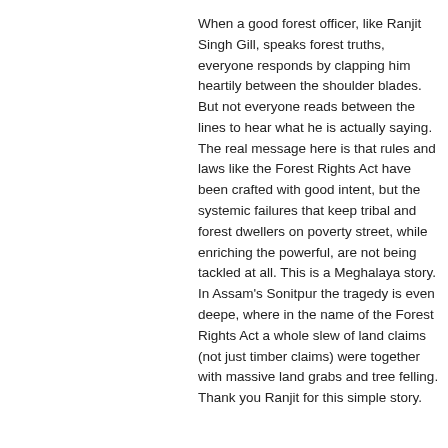When a good forest officer, like Ranjit Singh Gill, speaks forest truths, everyone responds by clapping him heartily between the shoulder blades. But not everyone reads between the lines to hear what he is actually saying. The real message here is that rules and laws like the Forest Rights Act have been crafted with good intent, but the systemic failures that keep tribal and forest dwellers on poverty street, while enriching the powerful, are not being tackled at all. This is a Meghalaya story. In Assam's Sonitpur the tragedy is even deepe, where in the name of the Forest Rights Act a whole slew of land claims (not just timber claims) were together with massive land grabs and tree felling. Thank you Ranjit for this simple story.